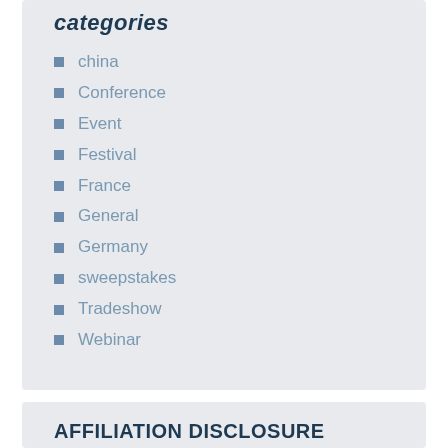categories
china
Conference
Event
Festival
France
General
Germany
sweepstakes
Tradeshow
Webinar
AFFILIATION DISCLOSURE
We may receive compensation from purchases